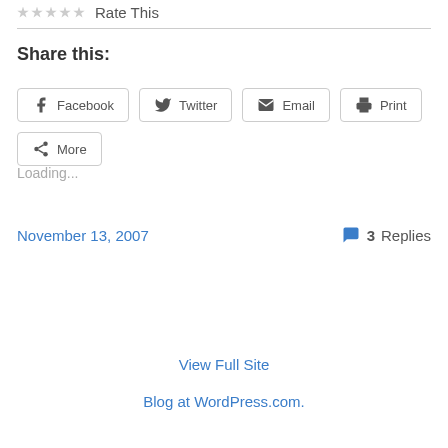Rate This
Share this:
Loading...
November 13, 2007
3 Replies
View Full Site
Blog at WordPress.com.